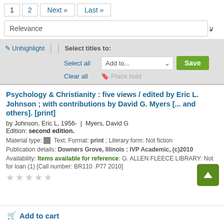1  2  Next »  Last »
Relevance
✏ Unhighlight | Select titles to: Select all  Add to...  Save  Clear all  🔖 Place hold
Psychology & Christianity : five views / edited by Eric L. Johnson ; with contributions by David G. Myers [... and others]. [print]
by Johnson, Eric L, 1956-  |  Myers, David G
Edition: second edition.
Material type: Text; Format: print ; Literary form: Not fiction
Publication details: Downers Grove, Illinois : IVP Academic, (c)2010
Availability: Items available for reference: G. ALLEN FLEECE LIBRARY: Not for loan (1) [Call number: BR110 .P77 2010]
★★★★★
🛒 Add to cart